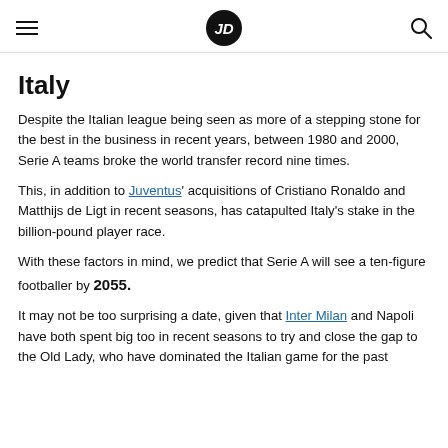JD (logo) with hamburger menu and search icon
Italy
Despite the Italian league being seen as more of a stepping stone for the best in the business in recent years, between 1980 and 2000, Serie A teams broke the world transfer record nine times.
This, in addition to Juventus' acquisitions of Cristiano Ronaldo and Matthijs de Ligt in recent seasons, has catapulted Italy's stake in the billion-pound player race.
With these factors in mind, we predict that Serie A will see a ten-figure footballer by 2055.
It may not be too surprising a date, given that Inter Milan and Napoli have both spent big too in recent seasons to try and close the gap to the Old Lady, who have dominated the Italian game for the past